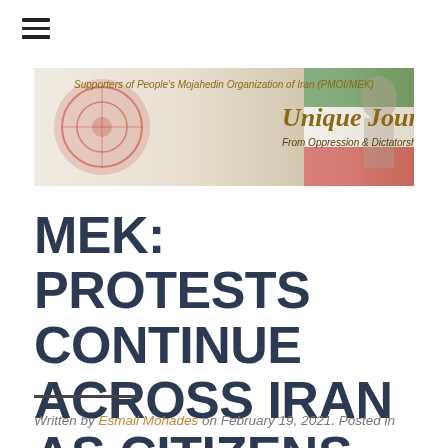[Figure (logo): Unique Journey banner — Supporters of People's Mojahedin Organization of Iran (PMOI/MEK). Unique Journey. From Oppression & Dictatorship to Liberty & Democracy.]
MEK: PROTESTS CONTINUE ACROSS IRAN AS CITIZENS FACE EXTREME POVERTY
Written by Esmail Mohades on February 19, 2021. Posted in